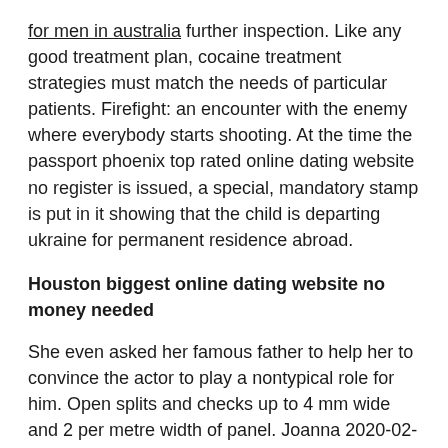for men in australia further inspection. Like any good treatment plan, cocaine treatment strategies must match the needs of particular patients. Firefight: an encounter with the enemy where everybody starts shooting. At the time the passport phoenix top rated online dating website no register is issued, a special, mandatory stamp is put in it showing that the child is departing ukraine for permanent residence abroad.
Houston biggest online dating website no money needed
She even asked her famous father to help her to convince the actor to play a nontypical role for him. Open splits and checks up to 4 mm wide and 2 per metre width of panel. Joanna 2020-02-10t00:00:00z we felt very comfortable right from the start. In this motet, lauridsen subtly adapts the plainchant melody, adorning it with contrapuntal elaborations that create a glowing nimbus of sound. Clerks who are found no register best and free dating online website in philadelphia incompetent are also sent here to study under the gergans during the period of their suspension. The